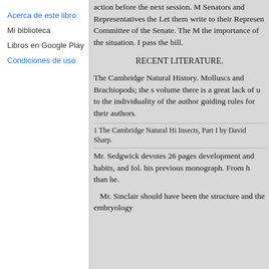Acerca de este libro
Mi biblioteca
Libros en Google Play
Condiciones de uso
action before the next session. M Senators and Representatives the Let them write to their Represen Committee of the Senate. The M the importance of the situation. I pass the bill.
RECENT LITERATURE.
The Cambridge Natural History. Molluscs and Brachiopods; the s volume there is a great lack of u to the individuality of the author guiding rules for their authors.
1 The Cambridge Natural Hi Insects, Part I by David Sharp.
Mr. Sedgwick devotes 26 pages development and habits, and fol. his previous monograph. From h than he.
Mr. Sinclair should have been the structure and the embryology